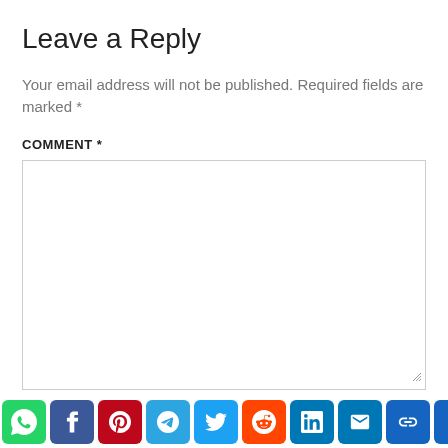Leave a Reply
Your email address will not be published. Required fields are marked *
COMMENT *
[Figure (screenshot): Comment text area input box, empty, with resize handle in bottom right corner]
[Figure (infographic): Social sharing icon bar with WhatsApp, Facebook, Pinterest, Telegram, Twitter, Reddit, LinkedIn, Email, Copy Link, and More icons]